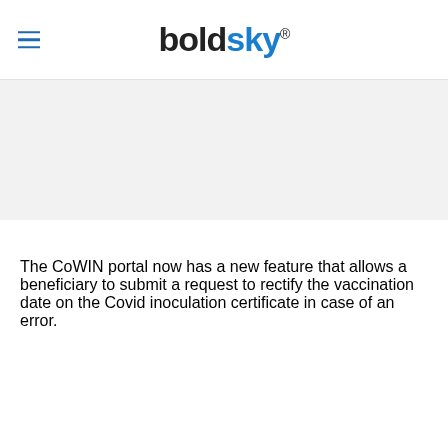boldsky®
[Figure (other): Gray advertisement banner area]
The CoWIN portal now has a new feature that allows a beneficiary to submit a request to rectify the vaccination date on the Covid inoculation certificate in case of an error.